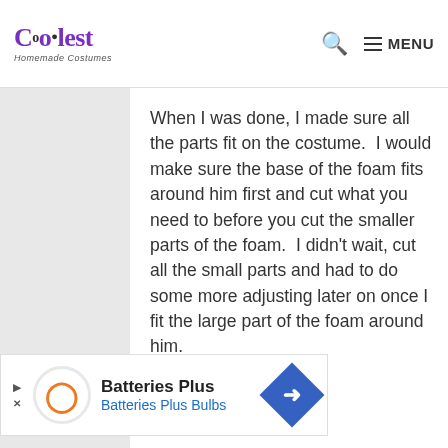Coolest Homemade Costumes — MENU
When I was done, I made sure all the parts fit on the costume.  I would make sure the base of the foam fits around him first and cut what you need to before you cut the smaller parts of the foam.  I didn't wait, cut all the small parts and had to do some more adjusting later on once I fit the large part of the foam around him.
[Figure (other): Batteries Plus advertisement banner with orange D logo and blue diamond arrow icon, text reads Batteries Plus, Batteries Plus Bulbs]